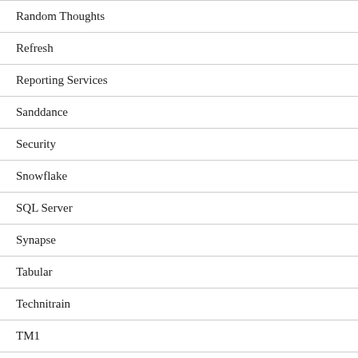Random Thoughts
Refresh
Reporting Services
Sanddance
Security
Snowflake
SQL Server
Synapse
Tabular
Technitrain
TM1
Translations
Uncategorized
VBA
Video Training